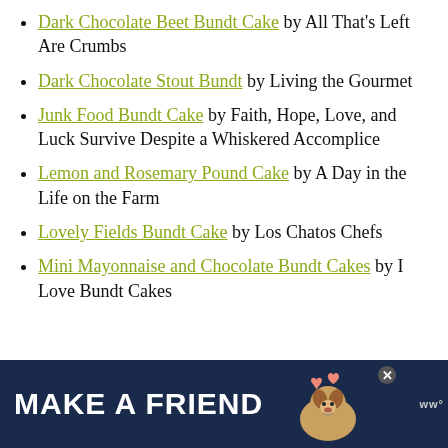Dark Chocolate Beet Bundt Cake by All That's Left Are Crumbs
Dark Chocolate Stout Bundt by Living the Gourmet
Junk Food Bundt Cake by Faith, Hope, Love, and Luck Survive Despite a Whiskered Accomplice
Lemon and Rosemary Pound Cake by A Day in the Life on the Farm
Lovely Fields Bundt Cake by Los Chatos Chefs
Mini Mayonnaise and Chocolate Bundt Cakes by I Love Bundt Cakes
[Figure (other): Advertisement banner: MAKE A FRIEND with dog photo and heart icons on dark blue background]